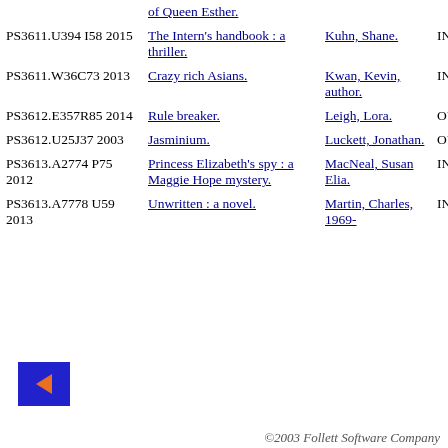| Call Number | Title | Author | Status |
| --- | --- | --- | --- |
|  | of Queen Esther. |  |  |
| PS3611.U394 I58 2015 | The Intern's handbook : a thriller. | Kuhn, Shane. | IN |
| PS3611.W36C73 2013 | Crazy rich Asians. | Kwan, Kevin, author. | IN |
| PS3612.E357R85 2014 | Rule breaker. | Leigh, Lora. | OUT |
| PS3612.U25J37 2003 | Jasminium. | Luckett, Jonathan. | OUT |
| PS3613.A2774 P75 2012 | Princess Elizabeth's spy : a Maggie Hope mystery. | MacNeal, Susan Elia. | IN |
| PS3613.A7778 U59 2013 | Unwritten : a novel. | Martin, Charles, 1969- | IN |
[Figure (other): Blue square navigation button with orange left-pointing arrow]
©2003 Follett Software Company